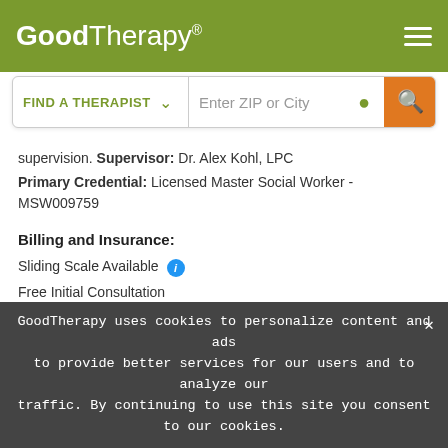GoodTherapy®
supervision. Supervisor: Dr. Alex Kohl, LPC
Primary Credential: Licensed Master Social Worker - MSW009759
Billing and Insurance:
Sliding Scale Available
Free Initial Consultation
[Figure (map): Street map showing location near Library, with streets Fulle and Roswell S. visible]
GoodTherapy uses cookies to personalize content and ads to provide better services for our users and to analyze our traffic. By continuing to use this site you consent to our cookies.